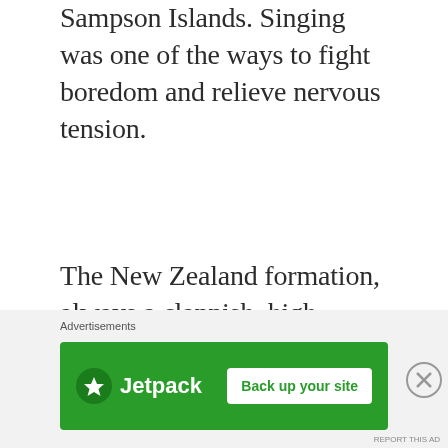Sampson Islands. Singing was one of the ways to fight boredom and relieve nervous tension.
The New Zealand formation, always a clannish, high spirited lot, soon developed their own unit traditions. A great many ballads and choruses emerged. Some of the most popular have been used on this recording.
Advertisements — Jetpack: Back up your site